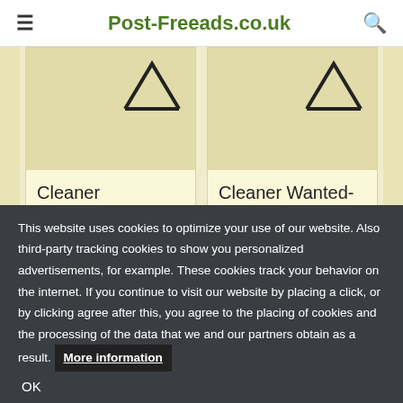Post-Freeads.co.uk
Cleaner
Cleaner Wanted-
This website uses cookies to optimize your use of our website. Also third-party tracking cookies to show you personalized advertisements, for example. These cookies track your behavior on the internet. If you continue to visit our website by placing a click, or by clicking agree after this, you agree to the placing of cookies and the processing of the data that we and our partners obtain as a result. More information
OK